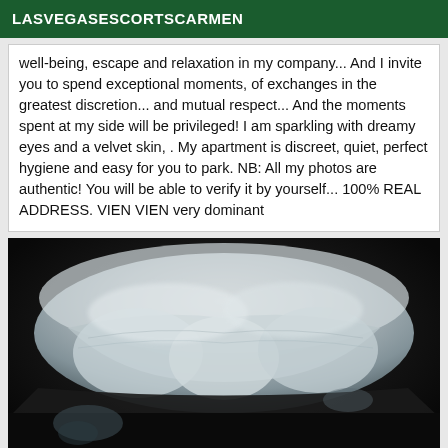LASVEGASESCORTSCARMEN
well-being, escape and relaxation in my company... And I invite you to spend exceptional moments, of exchanges in the greatest discretion... and mutual respect... And the moments spent at my side will be privileged! I am sparkling with dreamy eyes and a velvet skin, . My apartment is discreet, quiet, perfect hygiene and easy for you to park. NB: All my photos are authentic! You will be able to verify it by yourself... 100% REAL ADDRESS. VIEN VIEN very dominant
[Figure (photo): Close-up photo of what appears to be a white/grey sculptural or organic form against a dark background, possibly teeth or a 3D model, photographed from below]